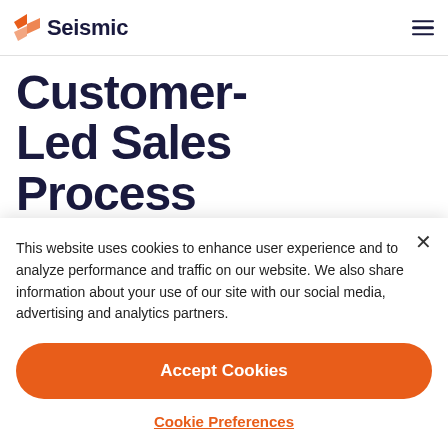Seismic
Customer-Led Sales Process
It's been a whirlwind of
This website uses cookies to enhance user experience and to analyze performance and traffic on our website. We also share information about your use of our site with our social media, advertising and analytics partners.
Accept Cookies
Cookie Preferences